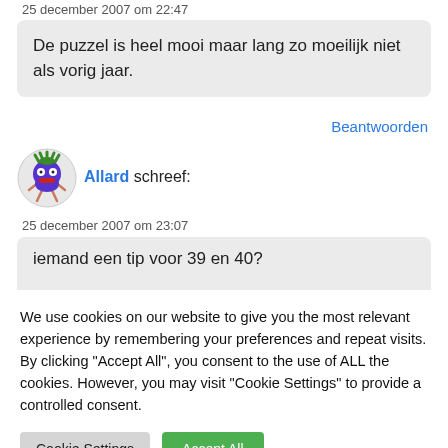25 december 2007 om 22:47
De puzzel is heel mooi maar lang zo moeilijk niet als vorig jaar.
Beantwoorden
[Figure (illustration): Avatar icon of a cartoon character (purple round head with green spiky hair, red mouth, white eyes with dots, and arms)]
Allard schreef:
25 december 2007 om 23:07
iemand een tip voor 39 en 40?
We use cookies on our website to give you the most relevant experience by remembering your preferences and repeat visits. By clicking "Accept All", you consent to the use of ALL the cookies. However, you may visit "Cookie Settings" to provide a controlled consent.